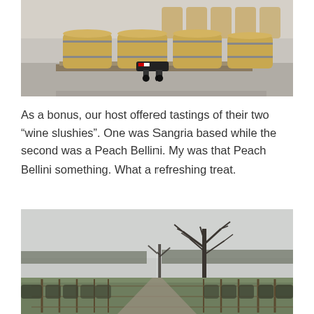[Figure (photo): Interior of a winery barrel room showing several large wooden wine barrels stacked on a pallet/cart on a grey concrete floor, with more barrels and equipment visible in the background.]
As a bonus, our host offered tastings of their two “wine slushies”. One was Sangria based while the second was a Peach Bellini. My was that Peach Bellini something. What a refreshing treat.
[Figure (photo): Outdoor vineyard scene with rows of grapevines stretching into the distance along a dirt path, with bare trees (leafless) visible against an overcast grey sky in the background.]